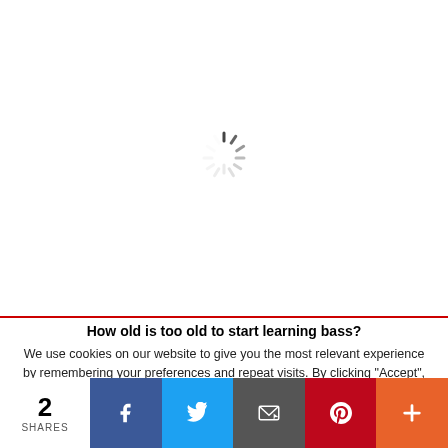[Figure (other): Animated loading spinner (throbber) in gray/dark tones, centered in the upper portion of the page]
How old is too old to start learning bass?
We use cookies on our website to give you the most relevant experience by remembering your preferences and repeat visits. By clicking "Accept", you consent to the use of ALL the cookies.
[Figure (other): Social share bar at the bottom: share count '2 SHARES', Facebook button, Twitter button, Email button, Pinterest button, More (+) button]